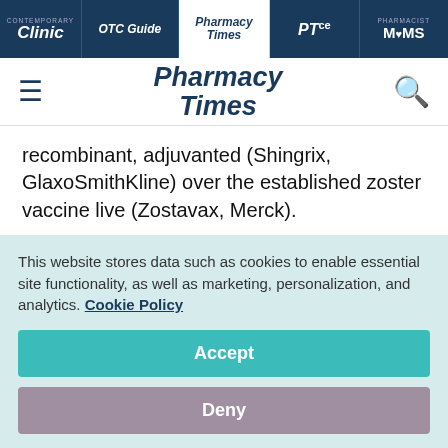Contemporary Clinic | OTC Guide | Pharmacy Times | PTce | Pharmacist Moms
[Figure (logo): Pharmacy Times logo with hamburger menu and search icon]
recombinant, adjuvanted (Shingrix, GlaxoSmithKline) over the established zoster vaccine live (Zostavax, Merck).
This endorsement may be “likely to prevent... more disease compared to a nonpreferential
This website stores data such as cookies to enable essential site functionality, as well as marketing, personalization, and analytics. Cookie Policy
Accept
Deny